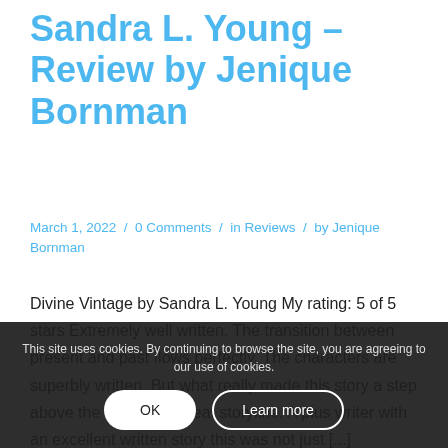Sandra L. Young – Review by Jenique Bornman
March 1, 2022 / 0 Comments / in Reviews / by Jenique Bornman
Divine Vintage by Sandra L. Young My rating: 5 of 5 stars Extremely well written. The transition between present and past flows perfectly. The characters are superbly written. But what really made this story a step above the rest is the great storyline. A plus writer with an excellent written story this was not just [...]
This site uses cookies. By continuing to browse the site, you are agreeing to our use of cookies.